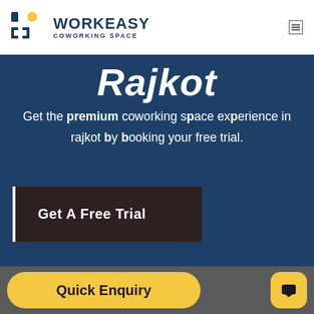[Figure (logo): Workeasy Coworking Space logo with geometric icon in dark blue and yellow]
Rajkot
Get the premium coworking space experience in rajkot by booking your free trial.
Get A Free Trial
Quick Enquiry